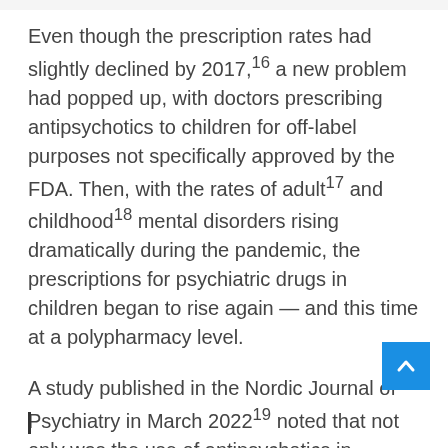Even though the prescription rates had slightly declined by 2017,¹⁶ a new problem had popped up, with doctors prescribing antipsychotics to children for off-label purposes not specifically approved by the FDA. Then, with the rates of adult¹⁷ and childhood¹⁸ mental disorders rising dramatically during the pandemic, the prescriptions for psychiatric drugs in children began to rise again — and this time at a polypharmacy level.
A study published in the Nordic Journal of Psychiatry in March 2022¹⁹ noted that not only was the use of antipsychotics in children increasing, but that polypharmacy — prescribing of multiple psychotic drugs — to children is now occurring. Researchers said: